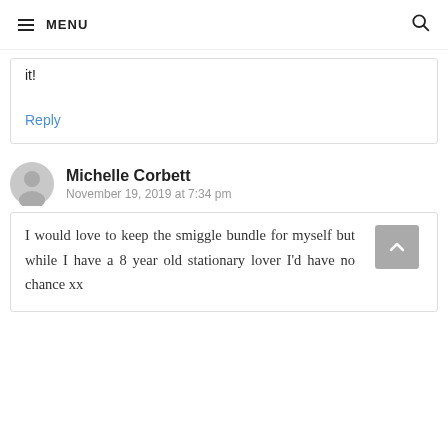MENU
it!
Reply
Michelle Corbett
November 19, 2019 at 7:34 pm
I would love to keep the smiggle bundle for myself but while I have a 8 year old stationary lover I'd have no chance xx